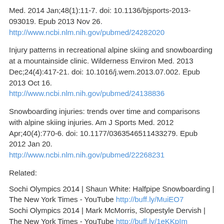Med. 2014 Jan;48(1):11-7. doi: 10.1136/bjsports-2013-093019. Epub 2013 Nov 26. http://www.ncbi.nlm.nih.gov/pubmed/24282020
Injury patterns in recreational alpine skiing and snowboarding at a mountainside clinic. Wilderness Environ Med. 2013 Dec;24(4):417-21. doi: 10.1016/j.wem.2013.07.002. Epub 2013 Oct 16. http://www.ncbi.nlm.nih.gov/pubmed/24138836
Snowboarding injuries: trends over time and comparisons with alpine skiing injuries. Am J Sports Med. 2012 Apr;40(4):770-6. doi: 10.1177/0363546511433279. Epub 2012 Jan 20. http://www.ncbi.nlm.nih.gov/pubmed/22268231
Related:
Sochi Olympics 2014 | Shaun White: Halfpipe Snowboarding | The New York Times - YouTube http://buff.ly/MuiEO7 Sochi Olympics 2014 | Mark McMorris, Slopestyle Dervish | The New York Times - YouTube http://buff.ly/1eKKpIm